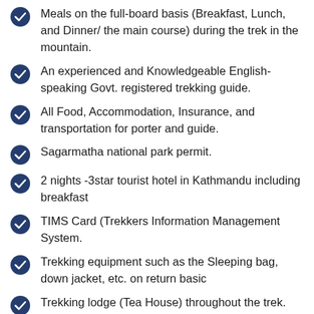Meals on the full-board basis (Breakfast, Lunch, and Dinner/ the main course) during the trek in the mountain.
An experienced and Knowledgeable English-speaking Govt. registered trekking guide.
All Food, Accommodation, Insurance, and transportation for porter and guide.
Sagarmatha national park permit.
2 nights -3star tourist hotel in Kathmandu including breakfast
TIMS Card (Trekkers Information Management System.
Trekking equipment such as the Sleeping bag, down jacket, etc. on return basic
Trekking lodge (Tea House) throughout the trek.
Assistant guides a group size of more than 5